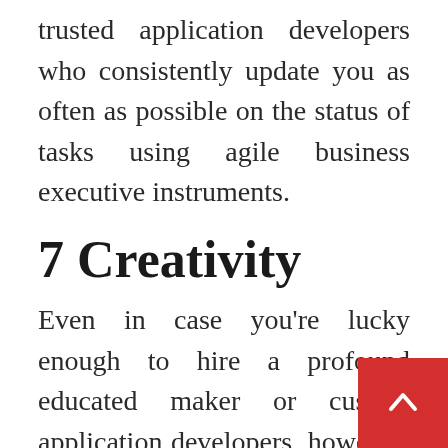trusted application developers who consistently update you as often as possible on the status of tasks using agile business executive instruments.
7 Creativity
Even in case you're lucky enough to hire a profound educated maker or custom application developers, however, on the off chance that they can not consider some fresh possibilities, insights they would not continue long. Market development of the applications require both designers and developers are smart and inventive